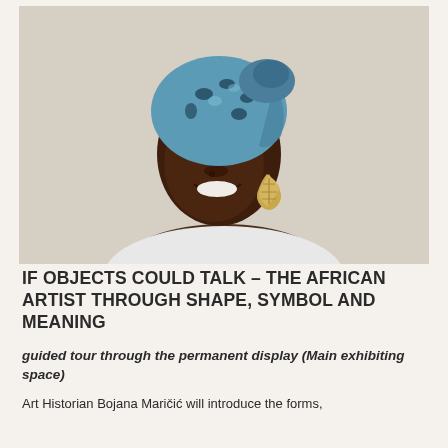[Figure (photo): Portrait photo of a smiling young woman with a blue and black patterned head wrap and large gold leaf-shaped earrings, wearing a white top, photographed against a beige wall background.]
IF OBJECTS COULD TALK – THE AFRICAN ARTIST THROUGH SHAPE, SYMBOL AND MEANING
guided tour through the permanent display (Main exhibiting space)
Art Historian Bojana Maričić will introduce the forms,